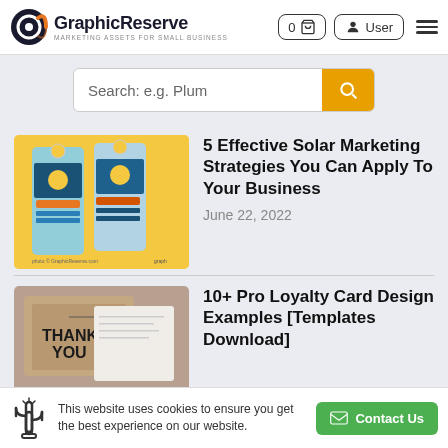GraphicReserve — MARKETING ASSETS FOR SMALL BUSINESS
[Figure (screenshot): Search bar with placeholder text 'Search: e.g. Plum' and orange search button]
[Figure (photo): Solar energy door hangers marketing materials on yellow background]
5 Effective Solar Marketing Strategies You Can Apply To Your Business
June 22, 2022
[Figure (photo): Thank You loyalty card on kraft paper background]
10+ Pro Loyalty Card Design Examples [Templates Download]
This website uses cookies to ensure you get the best experience on our website.